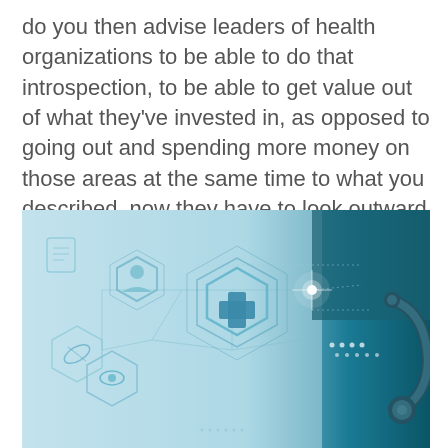do you then advise leaders of health organizations to be able to do that introspection, to be able to get value out of what they've invested in, as opposed to going out and spending more money on those areas at the same time to what you described, now they have to look outward at things that they've never looked at before, like MA and they're changing landscape and, and pivot as well?
[Figure (photo): Healthcare technology illustration with hexagonal icons showing medical symbols (patient/person icon, medical cross, eye, pill/capsule) connected by digital network lines on a light blue background, with a stethoscope visible on the right side.]